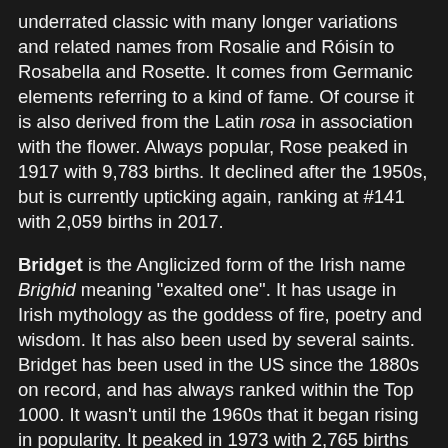underrated classic with many longer variations and related names from Rosalie and Róisín to Rosabella and Rosette. It comes from Germanic elements referring to a kind of fame. Of course it is also derived from the Latin rosa in association with the flower. Always popular, Rose peaked in 1917 with 9,783 births. It declined after the 1950s, but is currently upticking again, ranking at #141 with 2,059 births in 2017.
Bridget is the Anglicized form of the Irish name Brighid meaning "exalted one". It has usage in Irish mythology as the goddess of fire, poetry and wisdom. It has also been used by several saints. Bridget has been used in the US since the 1880s on record, and has always ranked within the Top 1000. It wasn't until the 1960s that it began rising in popularity. It peaked in 1973 with 2,765 births for the year. It has slowly declined since then, receiving 432 births in 2017 for a rank of #674.
Aberdeen is a Scottish Gaelic name meaning "mouth of the Don" which is a river. It's a nature name and also a city in Scotland. This could be both masculine and feminine, but it only has US usage for females. However, births are very